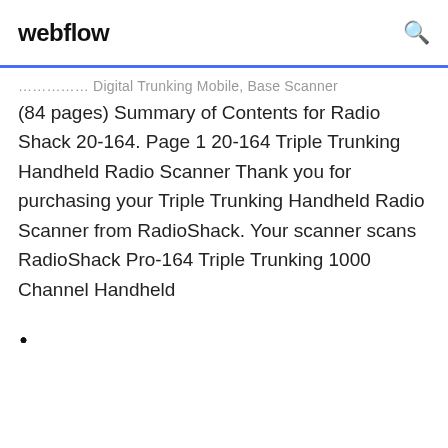webflow
…………. Digital Trunking Mobile, Base Scanner (84 pages) Summary of Contents for Radio Shack 20-164. Page 1 20-164 Triple Trunking Handheld Radio Scanner Thank you for purchasing your Triple Trunking Handheld Radio Scanner from RadioShack. Your scanner scans RadioShack Pro-164 Triple Trunking 1000 Channel Handheld